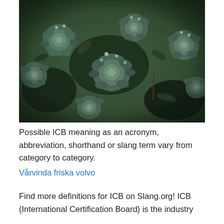[Figure (photo): Close-up photograph of dense green succulent or alpine plant clusters with small rounded blue-green rosette leaves and budding tips, filling the entire image frame.]
Possible ICB meaning as an acronym, abbreviation, shorthand or slang term vary from category to category.
Vårvinda friska volvo
Find more definitions for ICB on Slang.org! ICB (International Certification Board) is the industry